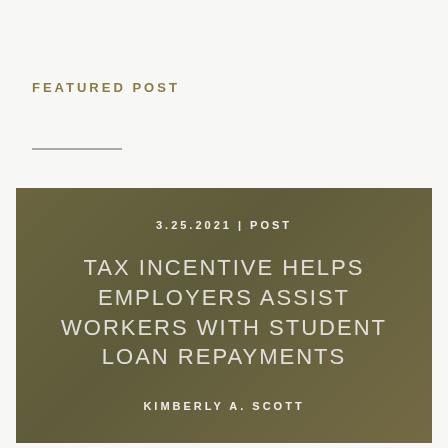FEATURED POST
[Figure (photo): Background photo of graduation cap, coins, and stacked books with an olive/khaki dark overlay, overlaid with post date, article title, and author name]
3.25.2021 | POST
TAX INCENTIVE HELPS EMPLOYERS ASSIST WORKERS WITH STUDENT LOAN REPAYMENTS
KIMBERLY A. SCOTT